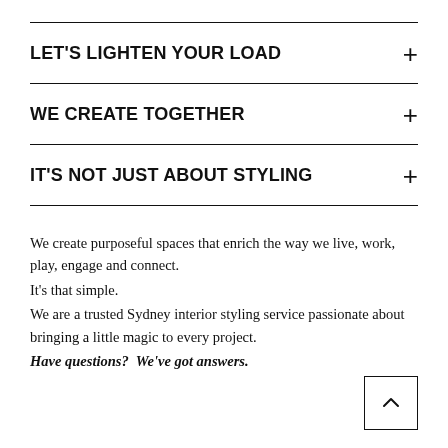LET'S LIGHTEN YOUR LOAD
WE CREATE TOGETHER
IT'S NOT JUST ABOUT STYLING
We create purposeful spaces that enrich the way we live, work, play, engage and connect.
It’s that simple.
We are a trusted Sydney interior styling service passionate about bringing a little magic to every project.
Have questions?  We’ve got answers.